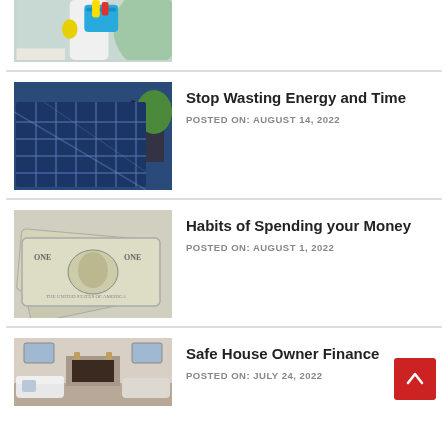[Figure (photo): Person holding a blue cleaning basket with yellow gloves and cleaning supplies]
[Figure (photo): Solar panels on a rooftop with a house and trees in the background]
Stop Wasting Energy and Time
POSTED ON: AUGUST 14, 2022
[Figure (photo): Close-up of US dollar bills fanned out]
Habits of Spending your Money
POSTED ON: AUGUST 1, 2022
[Figure (photo): Interior living room of a house with fireplace and white furniture]
Safe House Owner Finance
POSTED ON: JULY 24, 2022